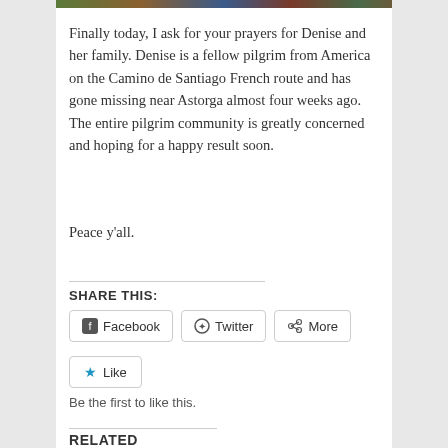[Figure (photo): Partial image strip at top of page showing outdoor or group photo]
Finally today, I ask for your prayers for Denise and her family. Denise is a fellow pilgrim from America on the Camino de Santiago French route and has gone missing near Astorga almost four weeks ago.  The entire pilgrim community is greatly concerned and hoping for a happy result soon.
Peace y'all.
SHARE THIS:
Facebook  Twitter  More
Like
Be the first to like this.
RELATED